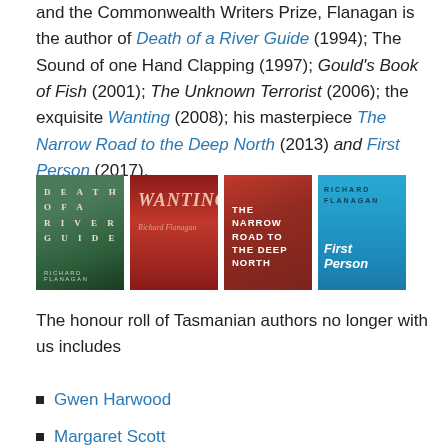and the Commonwealth Writers Prize, Flanagan is the author of Death of a River Guide (1994); The Sound of one Hand Clapping (1997); Gould's Book of Fish (2001); The Unknown Terrorist (2006); the exquisite Wanting (2008); his masterpiece The Narrow Road to the Deep North (2013) and First Person (2017).
[Figure (photo): Four book covers by Richard Flanagan: Death of a River Guide, Wanting, The Narrow Road to the Deep North, and First Person]
The honour roll of Tasmanian authors no longer with us includes
Gwen Harwood
Margaret Scott